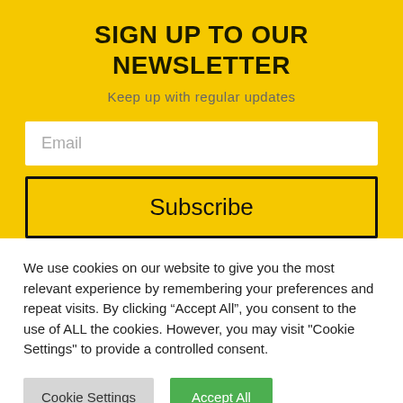SIGN UP TO OUR NEWSLETTER
Keep up with regular updates
Email
Subscribe
We use cookies on our website to give you the most relevant experience by remembering your preferences and repeat visits. By clicking “Accept All”, you consent to the use of ALL the cookies. However, you may visit "Cookie Settings" to provide a controlled consent.
Cookie Settings
Accept All